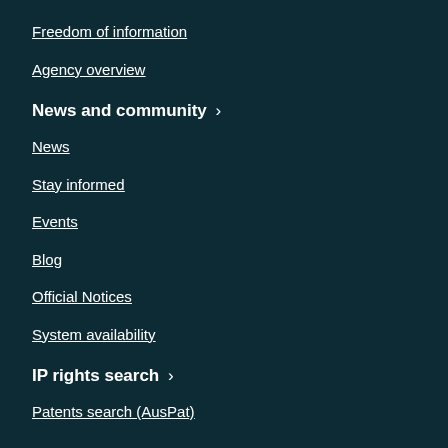Freedom of information
Agency overview
News and community >
News
Stay informed
Events
Blog
Official Notices
System availability
IP rights search >
Patents search (AusPat)